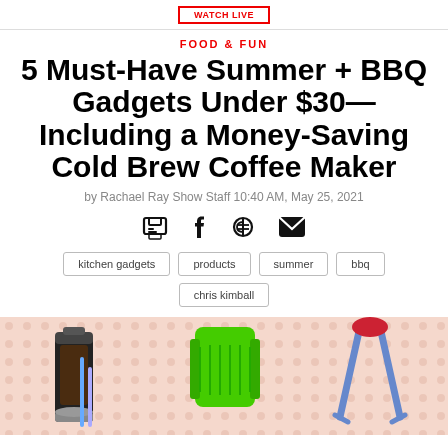FOOD & FUN
5 Must-Have Summer + BBQ Gadgets Under $30—Including a Money-Saving Cold Brew Coffee Maker
by Rachael Ray Show Staff 10:40 AM, May 25, 2021
[Figure (infographic): Social sharing icons: print, facebook, pinterest, email]
kitchen gadgets
products
summer
bbq
chris kimball
[Figure (photo): Hero image showing summer BBQ gadgets including a cold brew coffee maker, green silicone BBQ brush, and BBQ tongs on a pink patterned background]